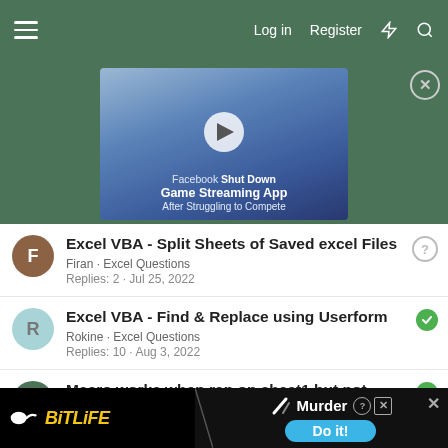Log in  Register
[Figure (screenshot): Video advertisement thumbnail showing Facebook Shut Down Game Streaming App After Struggling to Compete with play button overlay]
Excel VBA - Split Sheets of Saved excel Files
Firan · Excel Questions
Replies: 2 · Jul 25, 2022
Excel VBA - Find & Replace using Userform
Rokine · Excel Questions
Replies: 10 · Aug 3, 2022
Macro works when ran on sheet1 but not when ran from sheet2
Welearnasw ego · Excel Questions
[Figure (screenshot): BitLife advertisement banner showing sperm logo, BitLife text in yellow, Murder text with Do it! blue button]